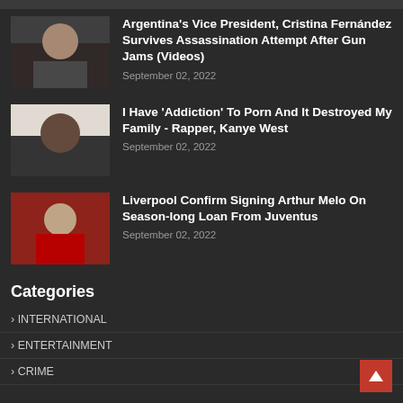[Figure (photo): Thumbnail photo of Argentina's Vice President Cristina Fernández]
Argentina's Vice President, Cristina Fernández Survives Assassination Attempt After Gun Jams (Videos)
September 02, 2022
[Figure (photo): Thumbnail photo of Rapper Kanye West]
I Have 'Addiction' To Porn And It Destroyed My Family - Rapper, Kanye West
September 02, 2022
[Figure (photo): Thumbnail photo of Arthur Melo at Liverpool signing]
Liverpool Confirm Signing Arthur Melo On Season-long Loan From Juventus
September 02, 2022
Categories
› INTERNATIONAL
› ENTERTAINMENT
› CRIME